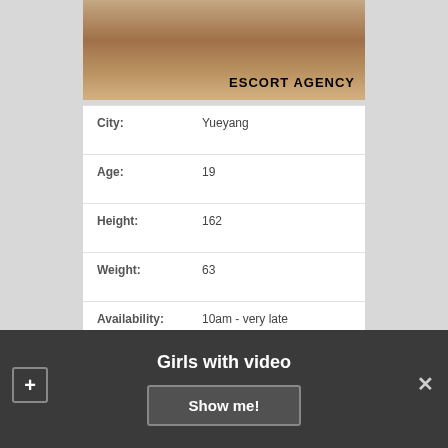[Figure (photo): Partial photo of a person with text overlay reading ESCORT AGENCY]
| Field | Value |
| --- | --- |
| City: | Yueyang |
| Age: | 19 |
| Height: | 162 |
| Weight: | 63 |
| Availability: | 10am - very late |
| Figure: | 89-61-89 |
| Sex Preferences: | Sex oral in condom, Sex lesbian, Slave |
Girls with video
Show me!